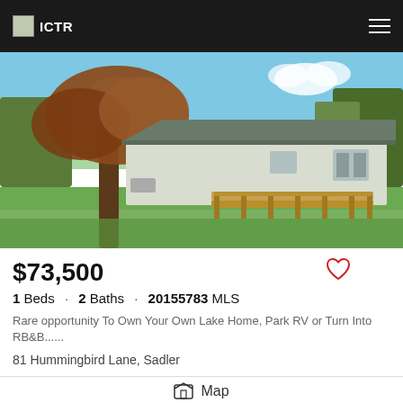ICTR
[Figure (photo): Exterior photo of a manufactured/mobile home with a wooden deck, surrounded by trees and green grass under a blue sky]
$73,500
1 Beds · 2 Baths · 20155783 MLS
Rare opportunity To Own Your Own Lake Home, Park RV or Turn Into RB&B......
81 Hummingbird Lane, Sadler
Map
Listing courtesy of TIERRA REALTORS